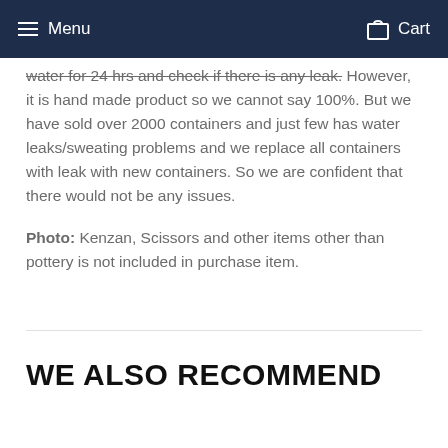Menu  Cart
water for 24 hrs and check if there is any leak. However, it is hand made product so we cannot say 100%. But we have sold over 2000 containers and just few has water leaks/sweating problems and we replace all containers with leak with new containers. So we are confident that there would not be any issues.
Photo: Kenzan, Scissors and other items other than pottery is not included in purchase item.
WE ALSO RECOMMEND